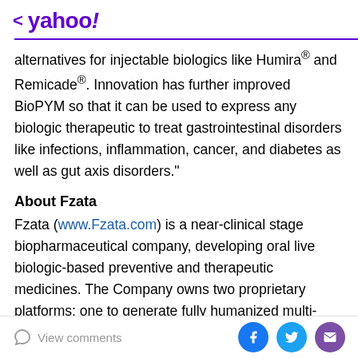< yahoo!
alternatives for injectable biologics like Humira® and Remicade®. Innovation has further improved BioPYM so that it can be used to express any biologic therapeutic to treat gastrointestinal disorders like infections, inflammation, cancer, and diabetes as well as gut axis disorders."
About Fzata
Fzata (www.Fzata.com) is a near-clinical stage biopharmaceutical company, developing oral live biologic-based preventive and therapeutic medicines. The Company owns two proprietary platforms: one to generate fully humanized multi-specific antibodies and a
View comments